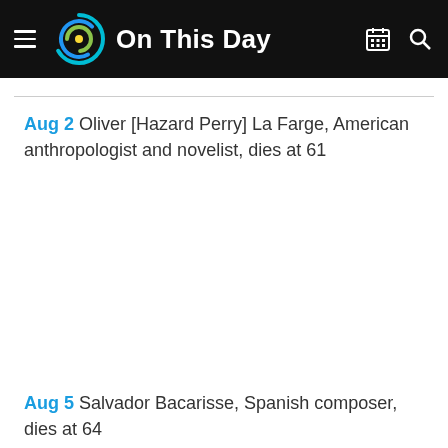On This Day
Aug 2 Oliver [Hazard Perry] La Farge, American anthropologist and novelist, dies at 61
Aug 5 Salvador Bacarisse, Spanish composer, dies at 64